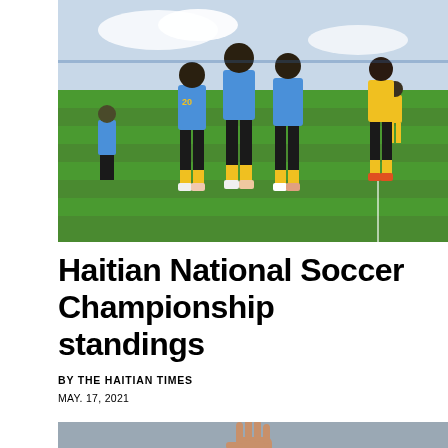[Figure (photo): Soccer players in blue and black/yellow uniforms celebrating on a green turf field during a match]
Haitian National Soccer Championship standings
BY THE HAITIAN TIMES
MAY. 17, 2021
[Figure (photo): A person raising their hand against a grey sky, partially visible at bottom of page]